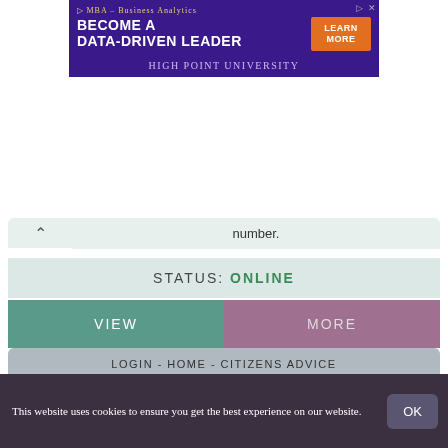[Figure (screenshot): MBA Business Analytics advertisement banner for High Point University with 'BECOME A DATA-DRIVEN LEADER' text and 'LEARN MORE' button]
number.
STATUS: ONLINE
VIEW
MORE
LOGIN - HOME - CITIZENS ADVICE
https://www.citizensadvice.org.uk/cymraeg/system/Login/
If you need the login details for CABlink, BMIS and AdviserNet, please contact ...
STATUS: ONLINE
This website uses cookies to ensure you get the best experience on our website.
OK